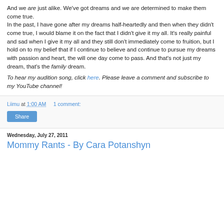And we are just alike. We've got dreams and we are determined to make them come true. In the past, I have gone after my dreams half-heartedly and then when they didn't come true, I would blame it on the fact that I didn't give it my all. It's really painful and sad when I give it my all and they still don't immediately come to fruition, but I hold on to my belief that if I continue to believe and continue to pursue my dreams with passion and heart, the will one day come to pass. And that's not just my dream, that's the family dream.
To hear my audition song, click here. Please leave a comment and subscribe to my YouTube channel!
Liimu at 1:00 AM   1 comment:
Wednesday, July 27, 2011
Mommy Rants - By Cara Potanshyn